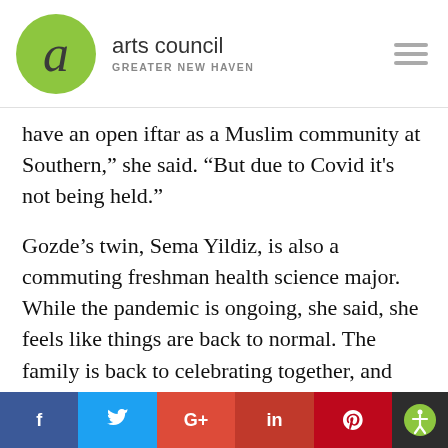arts council GREATER NEW HAVEN
have an open iftar as a Muslim community at Southern,” she said. “But due to Covid it's not being held.”
Gozde’s twin, Sema Yildiz, is also a commuting freshman health science major. While the pandemic is ongoing, she said, she feels like things are back to normal. The family is back to celebrating together, and they are attending Diyanet Mosque of New Haven after a fire and then Covid closed th
f  t  G+  in  Ⓟ  [accessibility]